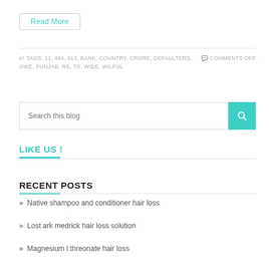Read More
TAGS: 11, 486, 913, BANK, COUNTRY, CRORE, DEFAULTERS, OWE, PUNJAB, RS, TO, WIDE, WILFUL    COMMENTS OFF
Search this blog
LIKE US !
RECENT POSTS
» Native shampoo and conditioner hair loss
» Lost ark medrick hair loss solution
» Magnesium l threonate hair loss